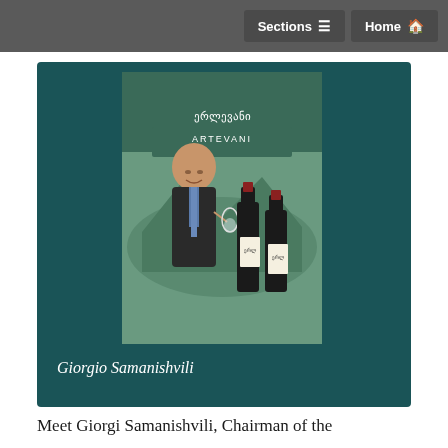Sections  Home
[Figure (photo): Photo of Giorgio Samanishvili standing in front of an Artevani wine brand banner, holding a glass of wine, with two Artevani wine bottles in the foreground.]
Giorgio Samanishvili
Meet Giorgi Samanishvili, Chairman of the